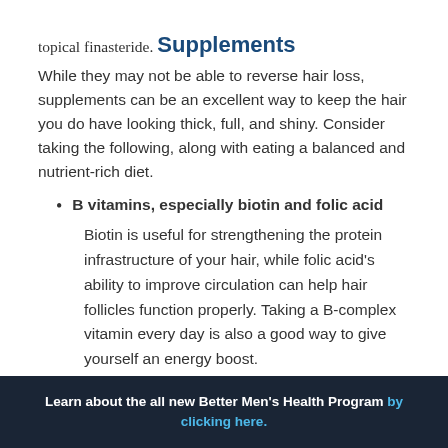topical finasteride.
Supplements
While they may not be able to reverse hair loss, supplements can be an excellent way to keep the hair you do have looking thick, full, and shiny. Consider taking the following, along with eating a balanced and nutrient-rich diet.
B vitamins, especially biotin and folic acid — Biotin is useful for strengthening the protein infrastructure of your hair, while folic acid's ability to improve circulation can help hair follicles function properly. Taking a B-complex vitamin every day is also a good way to give yourself an energy boost.
Learn about the all new Better Men's Health Program by clicking here.